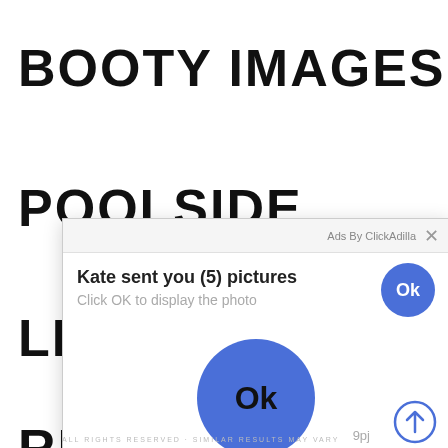BOOTY IMAGES
POOLSIDE
LES
RED
[Figure (screenshot): Ad popup overlay with text 'Kate sent you (5) pictures', subtitle 'Click OK to display the photo', a small blue Ok button in the top right of the popup, and a large blue Ok button in the center of the popup. Top bar shows 'Ads By ClickAdilla' with an X close button.]
9pj